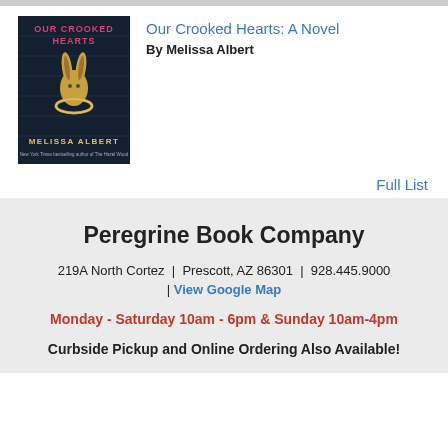[Figure (illustration): Book cover of 'Our Crooked Hearts' by Melissa Albert — dark blue background with a gold rabbit figure and a ring, pink title text at top, author name at bottom in yellow, small subtitle text below author]
Our Crooked Hearts: A Novel
By Melissa Albert
Full List
Peregrine Book Company
219A North Cortez  |  Prescott, AZ 86301  |  928.445.9000
| View Google Map
Monday - Saturday 10am - 6pm & Sunday 10am-4pm
Curbside Pickup and Online Ordering Also Available!